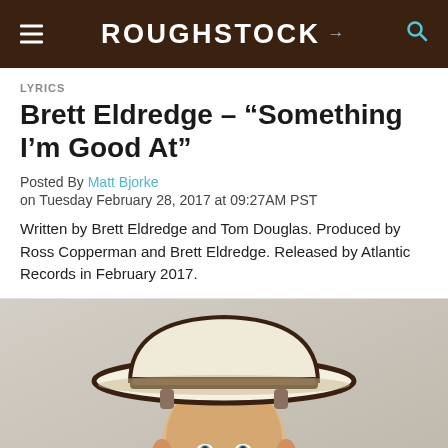ROUGHSTOCK
LYRICS
Brett Eldredge – "Something I'm Good At"
Posted By Matt Bjorke
on Tuesday February 28, 2017 at 09:27AM PST
Written by Brett Eldredge and Tom Douglas. Produced by Ross Copperman and Brett Eldredge. Released by Atlantic Records in February 2017.
[Figure (photo): Portrait photo of Brett Eldredge wearing a white cowboy hat with dark brim, looking at camera, against a light textured background.]